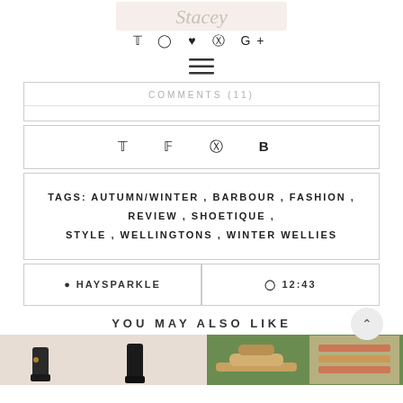[Figure (other): Blog logo/header with cursive script text on a beige background]
Social icons: Twitter, Instagram, Heart/Bloglovin, Pinterest, Google+
[Figure (other): Hamburger menu icon (three horizontal lines)]
COMMENTS (11)
Share icons: Twitter, Facebook, Pinterest, Bloglovin (B)
TAGS: AUTUMN/WINTER, BARBOUR, FASHION, REVIEW, SHOETIQUE, STYLE, WELLINGTONS, WINTER WELLIES
HAYSPARKLE | 12:43
YOU MAY ALSO LIKE
[Figure (photo): Thumbnails of 'You may also like' posts: black boots on left, outdoor/garden sandal image on right]